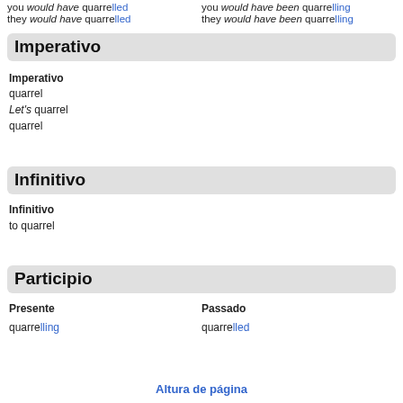you would have quarrelled / they would have quarrelled / you would have been quarrelling / they would have been quarrelling
Imperativo
Imperativo
quarrel
Let's quarrel
quarrel
Infinitivo
Infinitivo
to quarrel
Participio
Presente
Passado
quarrelling
quarrelled
Altura de página